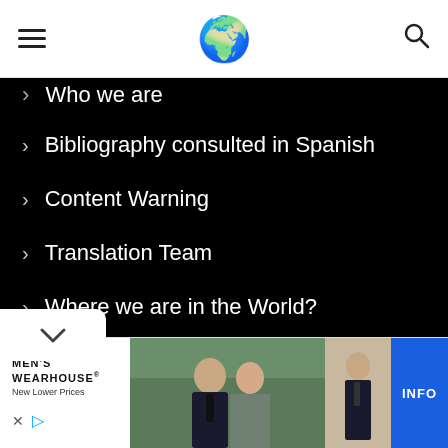[Figure (screenshot): Navigation bar with hamburger menu icon on left, globe emoji in center, and search icon on right]
Who we are
Bibliography consulted in Spanish
Content Warning
Translation Team
Where we are in the World?
[Figure (screenshot): Men's Wearhouse advertisement banner showing a couple in formalwear and a man in a suit, with INFO button]